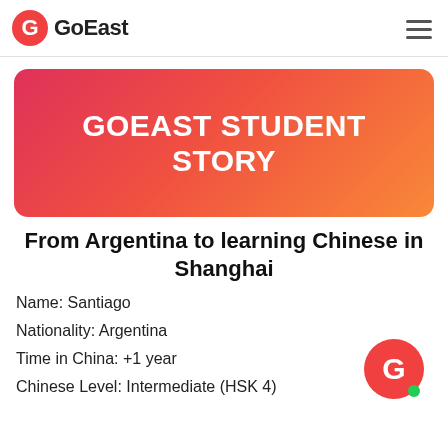GoEast
[Figure (logo): GoEast logo with red G icon and GoEast text]
GOEAST STUDENT STORY
From Argentina to learning Chinese in Shanghai
Name: Santiago
Nationality: Argentina
Time in China: +1 year
Chinese Level: Intermediate (HSK 4)